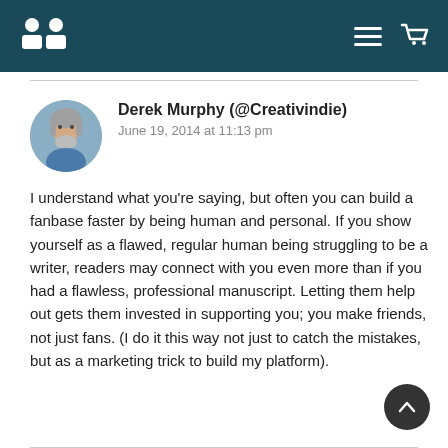Website header with logo, hamburger menu, and cart icon
[Figure (photo): Circular avatar photo of Derek Murphy, a man with long gray hair and beard wearing a blue shirt]
Derek Murphy (@Creativindie)
June 19, 2014 at 11:13 pm
I understand what you're saying, but often you can build a fanbase faster by being human and personal. If you show yourself as a flawed, regular human being struggling to be a writer, readers may connect with you even more than if you had a flawless, professional manuscript. Letting them help out gets them invested in supporting you; you make friends, not just fans. (I do it this way not just to catch the mistakes, but as a marketing trick to build my platform).